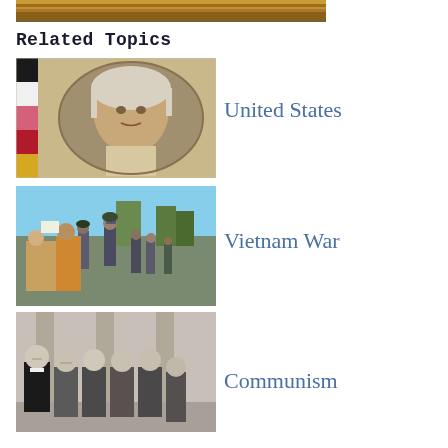[Figure (photo): Top partial image of a decorative wooden surface or desk]
Related Topics
[Figure (photo): Portrait painting of George Washington with color swatches on the left side]
United States
[Figure (photo): Black and white or color photo of soldiers and protesters, Vietnam War era scene]
Vietnam War
[Figure (photo): Black and white group photo of men in formal and military attire]
Communism